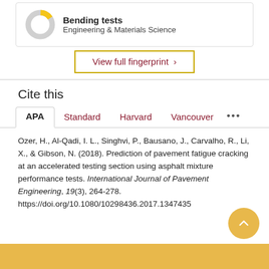[Figure (donut-chart): Donut chart for Bending tests, Engineering & Materials Science, mostly gray with small yellow segment]
Bending tests
Engineering & Materials Science
View full fingerprint ›
Cite this
APA  Standard  Harvard  Vancouver ...
Ozer, H., Al-Qadi, I. L., Singhvi, P., Bausano, J., Carvalho, R., Li, X., & Gibson, N. (2018). Prediction of pavement fatigue cracking at an accelerated testing section using asphalt mixture performance tests. International Journal of Pavement Engineering, 19(3), 264-278. https://doi.org/10.1080/10298436.2017.1347435